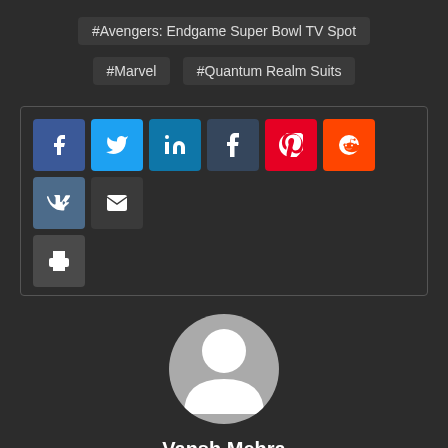#Avengers: Endgame Super Bowl TV Spot
#Marvel
#Quantum Realm Suits
[Figure (infographic): Row of social share buttons: Facebook (blue), Twitter (light blue), LinkedIn (dark blue), Tumblr (dark navy), Pinterest (red), Reddit (orange), VK (steel blue), Email (dark gray), and a Print button below.]
[Figure (illustration): Circular avatar placeholder showing a generic white silhouette of a person on a gray background.]
Vansh Mehra
Content creator. Just wanna share my passion for cinema with everyone.